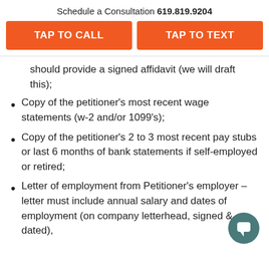Schedule a Consultation 619.819.9204
TAP TO CALL
TAP TO TEXT
should provide a signed affidavit (we will draft this);
Copy of the petitioner's most recent wage statements (w-2 and/or 1099's);
Copy of the petitioner's 2 to 3 most recent pay stubs or last 6 months of bank statements if self-employed or retired;
Letter of employment from Petitioner's employer – letter must include annual salary and dates of employment (on company letterhead, signed & dated),